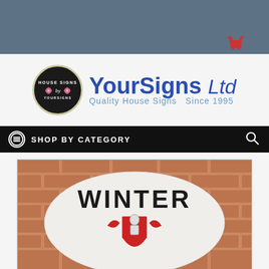[Figure (logo): YourSigns Ltd logo: black oval badge with HOUSE SIGNS BY YOURSIGNS text and roses, beside large blue text YourSigns Ltd and tagline Quality House Signs Since 1995]
SHOP BY CATEGORY
[Figure (photo): A white oval house sign reading WINTER with a heraldic crest, mounted on a red brick wall]